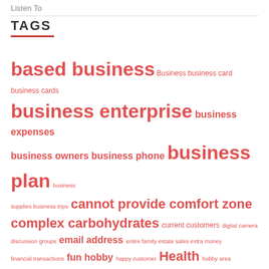Listen To
TAGS
based business Business business card business cards business enterprise business expenses business owners business phone business plan business supplies business trips cannot provide comfort zone complex carbohydrates current customers digital camera discussion groups email address entire family estate sales extra money financial transactions fun hobby happy customer Health hobby area improvement goals improve yourself Life loved ones mailing lists making jewelry office space online business personal development personal development goals personal development journey personal emails reference